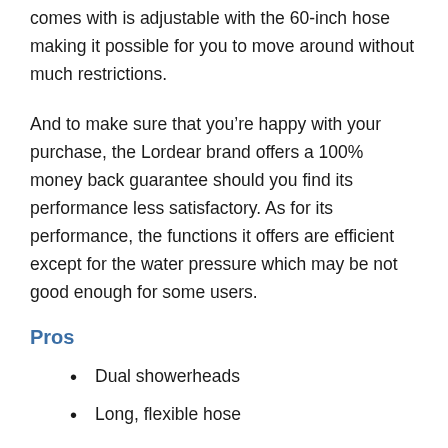comes with is adjustable with the 60-inch hose making it possible for you to move around without much restrictions.
And to make sure that you’re happy with your purchase, the Lordear brand offers a 100% money back guarantee should you find its performance less satisfactory. As for its performance, the functions it offers are efficient except for the water pressure which may be not good enough for some users.
Pros
Dual showerheads
Long, flexible hose